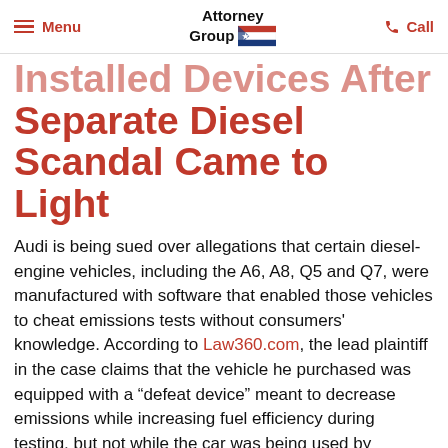Menu | Attorney Group | Call
Installed Devices After Separate Diesel Scandal Came to Light
Audi is being sued over allegations that certain diesel-engine vehicles, including the A6, A8, Q5 and Q7, were manufactured with software that enabled those vehicles to cheat emissions tests without consumers' knowledge. According to Law360.com, the lead plaintiff in the case claims that the vehicle he purchased was equipped with a “defeat device” meant to decrease emissions while increasing fuel efficiency during testing, but not while the car was being used by consumers.